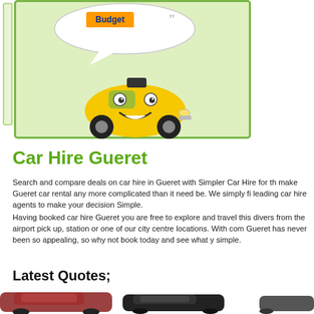[Figure (illustration): Green box with Budget car rental logo in speech bubble and animated smiling yellow cartoon taxi car character. Left side has a narrow green panel/bar.]
Car Hire Gueret
Search and compare deals on car hire in Gueret with Simpler Car Hire for th make Gueret car rental any more complicated than it need be. We simply fi leading car hire agents to make your decision Simple.
Having booked car hire Gueret you are free to explore and travel this divers from the airport pick up, station or one of our city centre locations. With com Gueret has never been so appealing, so why not book today and see what y simple.
Latest Quotes;
[Figure (photo): Row of car photos at the bottom: red/dark hatchback on left, black compact car in center, partial car on right edge.]